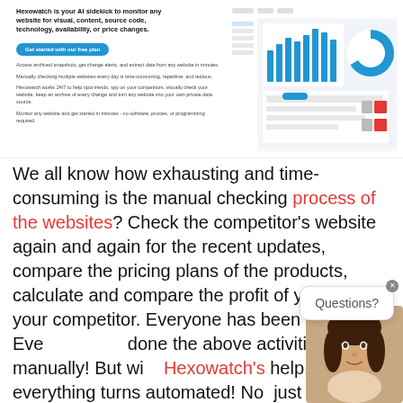[Figure (screenshot): Hexowatch website hero section showing tagline, CTA button, bullet points, and dashboard screenshot]
We all know how exhausting and time-consuming is the manual checking process of the websites? Check the competitor's website again and again for the recent updates, compare the pricing plans of the products, calculate and compare the profit of you and your competitor. Everyone has been there! Everyone has done the above activities manually! But with Hexowatch's help, everything turns automated! Not just that, Hexowatch also keeps a watch on the archive of every change and turns any website into your own private data source. Following are some of the features